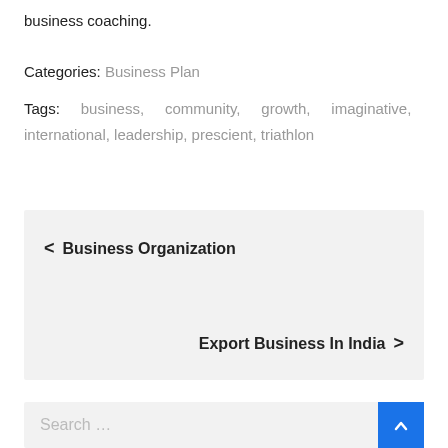business coaching.
Categories: Business Plan
Tags: business, community, growth, imaginative, international, leadership, prescient, triathlon
< Business Organization
Export Business In India >
Search ...